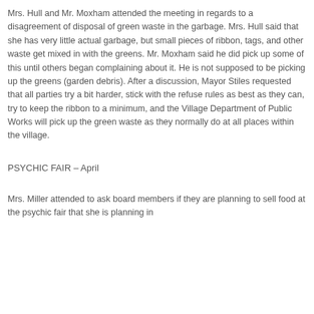Mrs. Hull and Mr. Moxham attended the meeting in regards to a disagreement of disposal of green waste in the garbage. Mrs. Hull said that she has very little actual garbage, but small pieces of ribbon, tags, and other waste get mixed in with the greens. Mr. Moxham said he did pick up some of this until others began complaining about it. He is not supposed to be picking up the greens (garden debris). After a discussion, Mayor Stiles requested that all parties try a bit harder, stick with the refuse rules as best as they can, try to keep the ribbon to a minimum, and the Village Department of Public Works will pick up the green waste as they normally do at all places within the village.
PSYCHIC FAIR – April
Mrs. Miller attended to ask board members if they are planning to sell food at the psychic fair that she is planning in